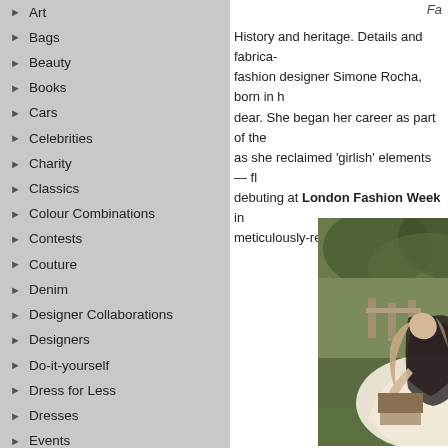Art
Bags
Beauty
Books
Cars
Celebrities
Charity
Classics
Colour Combinations
Contests
Couture
Denim
Designer Collaborations
Designers
Do-it-yourself
Dress for Less
Dresses
Events
Exhibitions
Fall/Winter 2010
Fall/Winter 2011
Fall/Winter 2012
Fall/Winter 2013
Fa
History and heritage. Details and fabrica- fashion designer Simone Rocha, born in h dear. She began her career as part of the as she reclaimed 'girlish' elements — fl debuting at London Fashion Week in meticulously-researched collections
[Figure (photo): A woman in a flowing white and black layered dress bending over in a garden setting with greenery in the background]